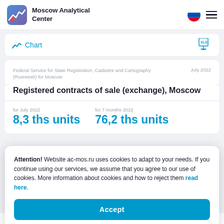Moscow Analytical Center
Chart
Federal Service for State Registration, Cadastre and Cartography (Rosreestr) for Moscow | July 2022
Registered contracts of sale (exchange), Moscow
for July 2022
8,3 ths units
for 7 months 2022
76,2 ths units
Attention! Website ac-mos.ru uses cookies to adapt to your needs. If you continue using our services, we assume that you agree to our use of cookies. More information about cookies and how to reject them read here.
Accept
Federal Service for State Registration, Cadastre and Cartography | July 2022